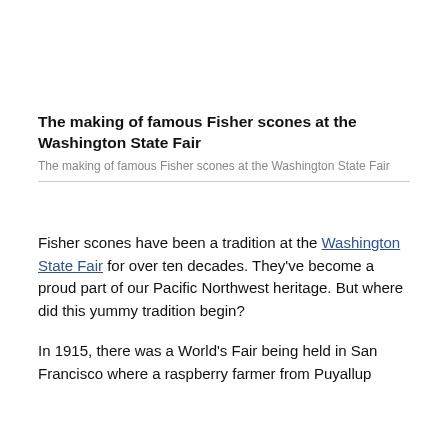The making of famous Fisher scones at the Washington State Fair
The making of famous Fisher scones at the Washington State Fair
Fisher scones have been a tradition at the Washington State Fair for over ten decades. They've become a proud part of our Pacific Northwest heritage. But where did this yummy tradition begin?
In 1915, there was a World's Fair being held in San Francisco where a raspberry farmer from Puyallup